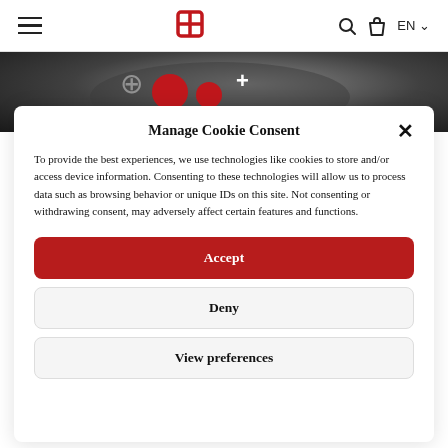≡  [logo icon]  🔍  🛍  EN ∨
[Figure (photo): Partial view of a watch face with red circular elements and a plus sign, dark background, cropped hero image strip.]
Manage Cookie Consent
To provide the best experiences, we use technologies like cookies to store and/or access device information. Consenting to these technologies will allow us to process data such as browsing behavior or unique IDs on this site. Not consenting or withdrawing consent, may adversely affect certain features and functions.
Accept
Deny
View preferences